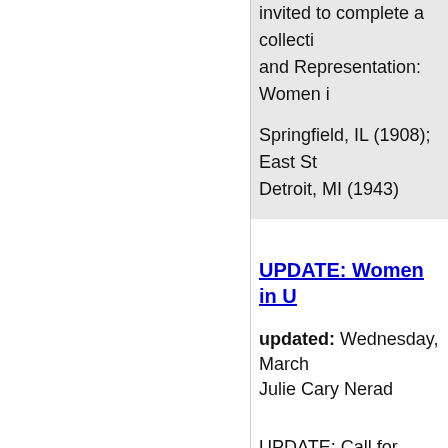invited to complete a collection and Representation: Women Springfield, IL (1908); East St. Detroit, MI (1943)
UPDATE: Women in U...
updated: Wednesday, March Julie Cary Nerad
UPDATE: Call for Papers
Abstracts on women's roles in invited to complete a collection and Representation: Women i Springfield, IL (1908); East St. Detroit, MI (1943)